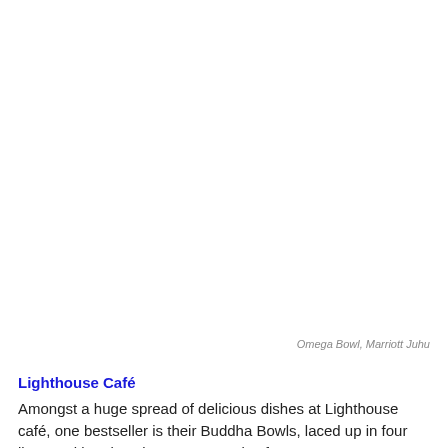Omega Bowl, Marriott Juhu
Lighthouse Café
Amongst a huge spread of delicious dishes at Lighthouse café, one bestseller is their Buddha Bowls, laced up in four lip-smacking dressings. A great mix of